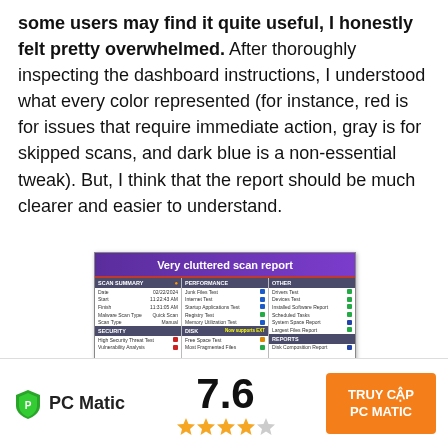some users may find it quite useful, I honestly felt pretty overwhelmed. After thoroughly inspecting the dashboard instructions, I understood what every color represented (for instance, red is for issues that require immediate action, gray is for skipped scans, and dark blue is a non-essential tweak). But, I think that the report should be much clearer and easier to understand.
[Figure (screenshot): Screenshot of a cluttered scan report interface labeled 'Very cluttered scan report' with sections: Scan Summary, Performance, Other, Security, Disk, Reports showing various tests and colored indicators]
[Figure (logo): PC Matic logo with green shield icon and bold text 'PC Matic', score 7.6, four gold stars and one gray star, and orange button 'TRUY CẬP PC MATIC']